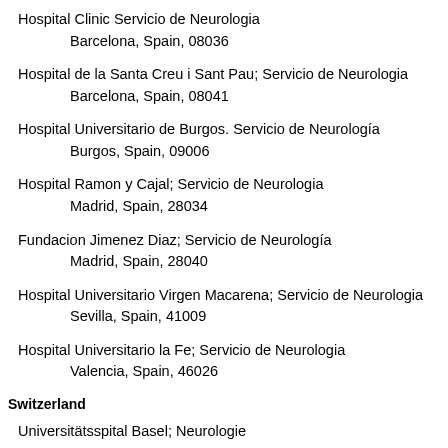Hospital Clinic Servicio de Neurologia
        Barcelona, Spain, 08036
Hospital de la Santa Creu i Sant Pau; Servicio de Neurologia
        Barcelona, Spain, 08041
Hospital Universitario de Burgos. Servicio de Neurología
        Burgos, Spain, 09006
Hospital Ramon y Cajal; Servicio de Neurologia
        Madrid, Spain, 28034
Fundacion Jimenez Diaz; Servicio de Neurología
        Madrid, Spain, 28040
Hospital Universitario Virgen Macarena; Servicio de Neurologia
        Sevilla, Spain, 41009
Hospital Universitario la Fe; Servicio de Neurologia
        Valencia, Spain, 46026
Switzerland
Universitätsspital Basel; Neurologie